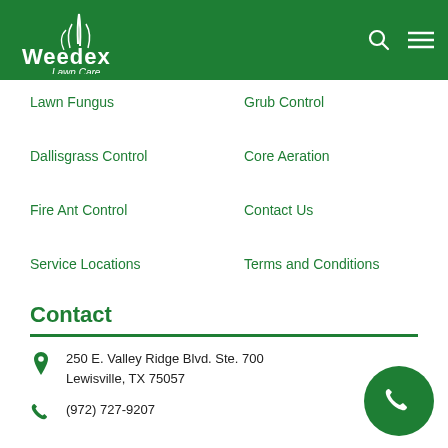[Figure (logo): Weedex Lawn Care logo - white text and plant graphic on green background header]
Lawn Fungus
Grub Control
Dallisgrass Control
Core Aeration
Fire Ant Control
Contact Us
Service Locations
Terms and Conditions
Contact
250 E. Valley Ridge Blvd. Ste. 700
Lewisville, TX 75057
(972) 727-9207